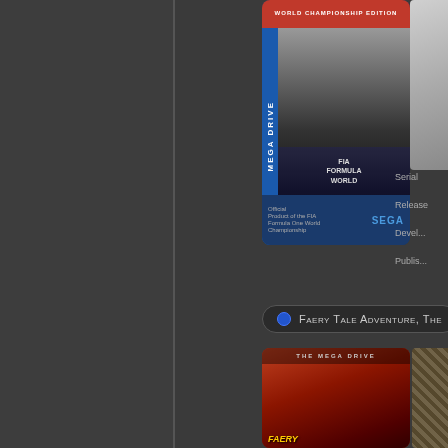[Figure (screenshot): Partial view of a game database/catalog page showing Mega Drive game entries. Top section shows F1 World Championship Edition (Sega Mega Drive) cover art with a racing car on a blue cartridge. Right side shows partial metadata labels: Serial, Release, Developer, Publisher. Below that is a rating badge with 5 pixel-art icons (2 grey, 3 orange). Then a section header badge 'Faery Tale Adventure, The' with a blue dot icon. Bottom shows the start of the Faery Tale Adventure Mega Drive cover (red/orange artwork) and a partial second image.]
Serial
Release
Developer
Publisher
Faery Tale Adventure, The